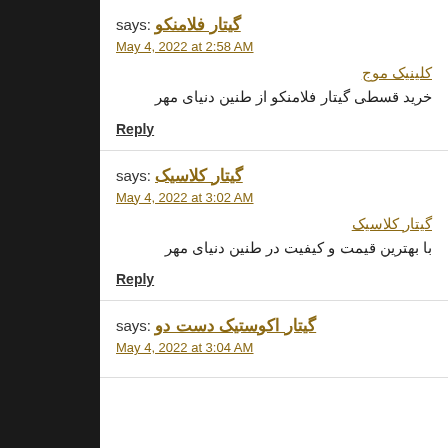گیتار فلامنکو says:
May 4, 2022 at 2:58 AM
کلینیک موج
خرید قسطی گیتار فلامنکو از طنین دنیای مهر
Reply
گیتار کلاسیک says:
May 4, 2022 at 3:02 AM
گیتار کلاسیک
با بهترین قیمت و کیفیت در طنین دنیای مهر
Reply
گیتار اکوستیک دست دو says:
May 4, 2022 at 3:04 AM